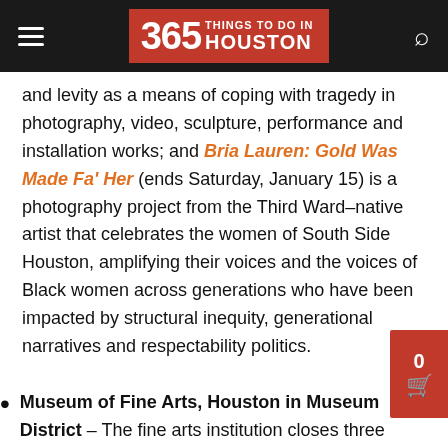365 Things to Do in Houston
and levity as a means of coping with tragedy in photography, video, sculpture, performance and installation works; and Bria Lauren: Gold Was Made Fa' Her (ends Saturday, January 15) is a photography project from the Third Ward–native artist that celebrates the women of South Side Houston, amplifying their voices and the voices of Black women across generations who have been impacted by structural inequity, generational narratives and respectability politics.
Museum of Fine Arts, Houston in Museum District – The fine arts institution closes three exhibitions in January; Georgia O'Keeffe, Photographer (ends Monday, January 17) takes a new look at the Southwestern artist by